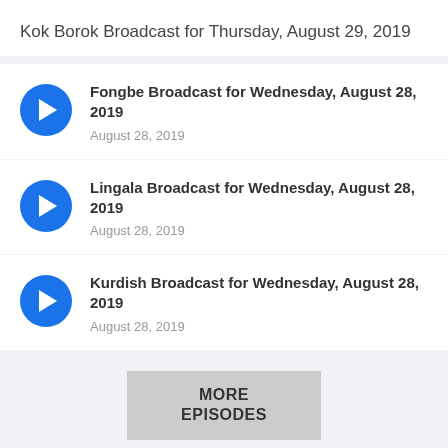Kok Borok Broadcast for Thursday, August 29, 2019
Fongbe Broadcast for Wednesday, August 28, 2019
August 28, 2019
Lingala Broadcast for Wednesday, August 28, 2019
August 28, 2019
Kurdish Broadcast for Wednesday, August 28, 2019
August 28, 2019
MORE EPISODES